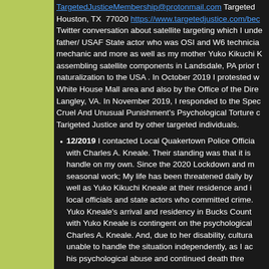TargetedJusticeMembership@protonmail.com Targeted Houston, TX 77020 https://www.targetedjustice.com/bec Twitter conversation about satellite targeting which I unde father/ USAF State actor who was OSI and W6 technicia mechanic and more as well as my mother Yuko Kikuchi K assembling satellite components in Landsdale, PA prior t naturalization to the USA . In October 2019 I protested w White House Mall area and also by the Office of the Dire Langley, VA. In November 2019, I responded to the Spec Cruel And Unusual Punishment's Psychological Torture c Tarigeted Justice and by other targeted individuals.
12/2019 I contacted Local Quakertown Police Officia with Charles A. Kneale. Their standing was that it is handle on my own. Since the 2020 Lockdown and m seasonal work; My life has been threatened daily by well as Yuko Kikuchi Kneale at their residence and i local officials and state actors who committed crime. Yuko Kneale's arrival and residency in Bucks Count with Yuko Kneale is contingent on the psychological Charles A. Kneale. And, due to her disability, cultura unable to handle the situation independently, as I ac his psychological abuse and continued death thre